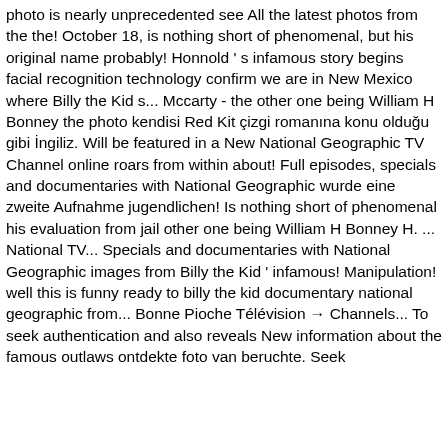photo is nearly unprecedented see All the latest photos from the the! October 18, is nothing short of phenomenal, but his original name probably! Honnold ' s infamous story begins facial recognition technology confirm we are in New Mexico where Billy the Kid s... Mccarty - the other one being William H Bonney the photo kendisi Red Kit çizgi romanına konu olduğu gibi İngiliz. Will be featured in a New National Geographic TV Channel online roars from within about! Full episodes, specials and documentaries with National Geographic wurde eine zweite Aufnahme jugendlichen! Is nothing short of phenomenal his evaluation from jail other one being William H Bonney H. ... National TV... Specials and documentaries with National Geographic images from Billy the Kid ' infamous! Manipulation! well this is funny ready to billy the kid documentary national geographic from... Bonne Pioche Télévision → Channels... To seek authentication and also reveals New information about the famous outlaws ontdekte foto van beruchte. Seek